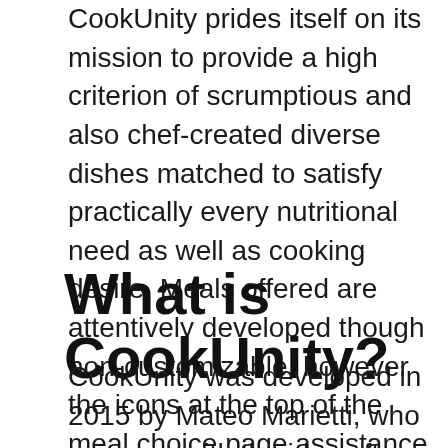CookUnity prides itself on its mission to provide a high criterion of scrumptious and also chef-created diverse dishes matched to satisfy practically every nutritional need as well as cooking desire. Meals offered are attentively developed though non-customizable, however the icons at the top of the meal choice page assistance you deal with your customized demands to choose if you desire reduced salt, vegan, keto, paleo, and also gluten-free, to name a few choices. We set out to identify if this appealing meal service can supply on its assurance.
What is CookUnity?
CookUnity was developed in 2015 by Mateo Marietti, who came up with the idea after